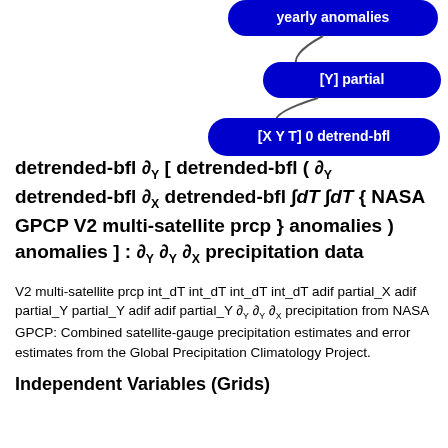[Figure (screenshot): Three blue rounded-rectangle buttons stacked: 'yearly anomalies' (partially cut off at top), '[Y] partial', '[X Y T] 0 detrend-bfl', connected by curved lines]
V2 multi-satellite prcp int_dT int_dT int_dT int_dT adif partial_X adif partial_Y partial_Y adif adif partial_Y ∂Y ∂Y ∂X precipitation from NASA GPCP: Combined satellite-gauge precipitation estimates and error estimates from the Global Precipitation Climatology Project.
Independent Variables (Grids)